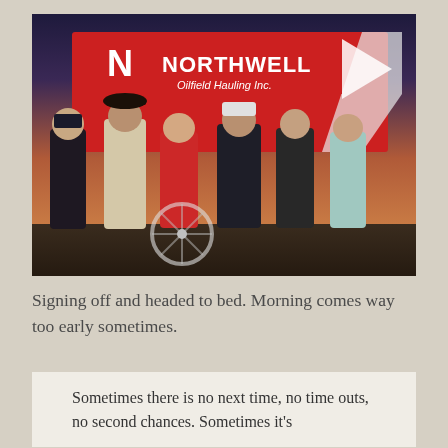[Figure (photo): Six people standing in front of a red Northwell Oilfield Hauling Inc. truck/trailer at dusk. The group includes men and women of varying ages, casually dressed, posing for a group photo at what appears to be an outdoor event or race track.]
Signing off and headed to bed. Morning comes way too early sometimes.
Sometimes there is no next time, no time outs, no second chances. Sometimes it's